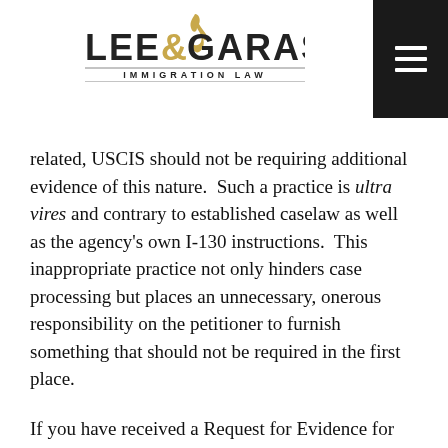LEE & GARASIA IMMIGRATION LAW
related, USCIS should not be requiring additional evidence of this nature.  Such a practice is ultra vires and contrary to established caselaw as well as the agency's own I-130 instructions.  This inappropriate practice not only hinders case processing but places an unnecessary, onerous responsibility on the petitioner to furnish something that should not be required in the first place.
If you have received a Request for Evidence for this type of evidence, our office may be able to assist you in replying.  The above is general information only.  It is not specific legal advice nor intended to create an attorney client relationship.  If you need